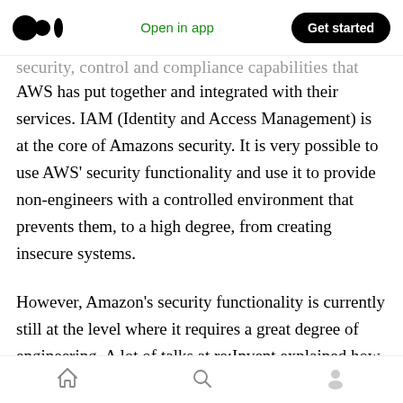Medium logo | Open in app | Get started
security, control and compliance capabilities that AWS has put together and integrated with their services. IAM (Identity and Access Management) is at the core of Amazons security. It is very possible to use AWS’ security functionality and use it to provide non-engineers with a controlled environment that prevents them, to a high degree, from creating insecure systems.
However, Amazon’s security functionality is currently still at the level where it requires a great degree of engineering. A lot of talks at re:Invent explained how AWS services like e.g. S3,
Home | Search | Profile